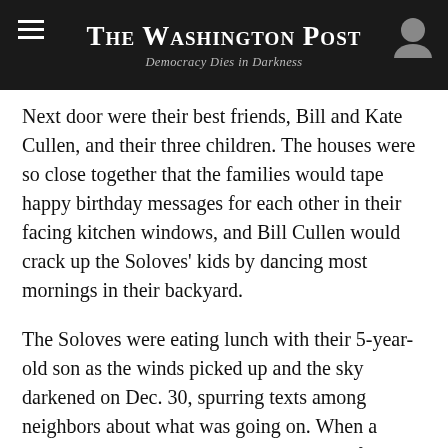The Washington Post — Democracy Dies in Darkness
Next door were their best friends, Bill and Kate Cullen, and their three children. The houses were so close together that the families would tape happy birthday messages for each other in their facing kitchen windows, and Bill Cullen would crack up the Soloves' kids by dancing most mornings in their backyard.
The Soloves were eating lunch with their 5-year-old son as the winds picked up and the sky darkened on Dec. 30, spurring texts among neighbors about what was going on. When a worried teenage neighbor came by to ask for advice, Erica Solove noticed ash flying through the air. She said she called the sheriff's substation in Superior and was told there were no evacuation orders.